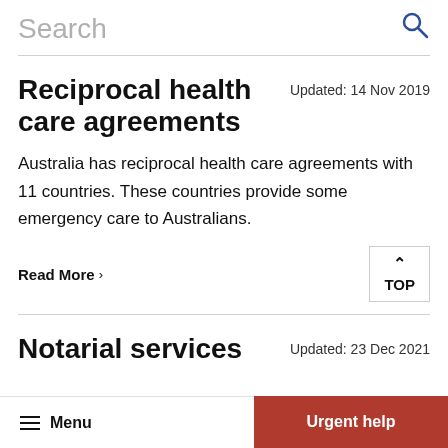Search
Reciprocal health care agreements
Updated: 14 Nov 2019
Australia has reciprocal health care agreements with 11 countries. These countries provide some emergency care to Australians.
Read More
Notarial services
Updated: 23 Dec 2021
Menu  Urgent help